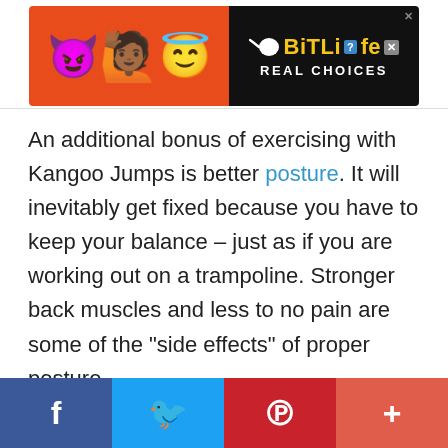[Figure (illustration): BitLife advertisement banner with emoji characters (devil, woman, angel) on red background and black panel showing BitLife logo and REAL CHOICES text]
An additional bonus of exercising with Kangoo Jumps is better posture. It will inevitably get fixed because you have to keep your balance – just as if you are working out on a trampoline. Stronger back muscles and less to no pain are some of the “side effects” of proper posture.
Endurance
[Figure (infographic): Social share bar with Facebook (blue), Twitter (light blue), Pinterest (red), and plus/share button (coral red)]